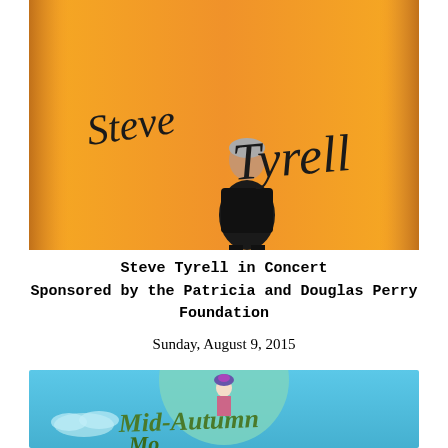[Figure (photo): Promotional photo of Steve Tyrell standing against an orange background with his name written in large cursive script. He is wearing a black suit with arms crossed.]
Steve Tyrell in Concert
Sponsored by the Patricia and Douglas Perry Foundation
Sunday, August 9, 2015
[Figure (illustration): Mid-Autumn festival promotional image with a blue sky background, large teal moon, a geisha figure, clouds, and cursive text reading 'Mid-Autumn' with more text below.]